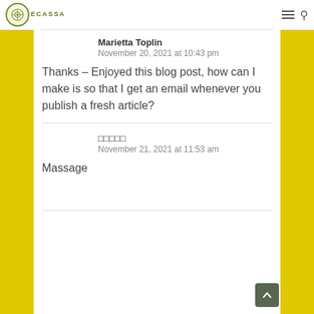ECASSA
Marietta Toplin
November 20, 2021 at 10:43 pm
Thanks – Enjoyed this blog post, how can I make is so that I get an email whenever you publish a fresh article?
□□□□□
November 21, 2021 at 11:53 am
Massage